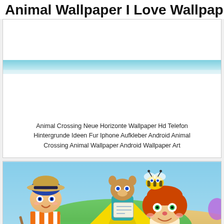Animal Wallpaper I Love Wallpaper
[Figure (photo): Cropped top portion of an Animal Crossing wallpaper showing a sky/background scene.]
Animal Crossing Neue Horizonte Wallpaper Hd Telefon Hintergrunde Ideen Fur Iphone Aufkleber Android Animal Crossing Animal Wallpaper Android Wallpaper Art
[Figure (photo): Animal Crossing New Horizons characters including a boy with blue hair in striped shirt, a girl with red pigtails, Tom Nook in teal shirt, and a bee character on an island with green grass, sandy beach, yellow tent.]
Animal Crossing New Horizons Wallpaper Hd Phone Backgrounds Art Ideas For Iphone Android Lock Screen Animal Crossing Android Wallpaper Art Wallpaper